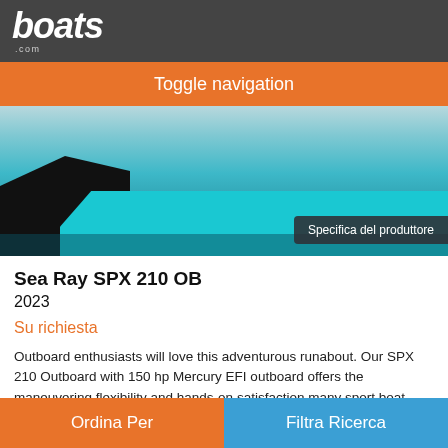boats.com
Toggle navigation
[Figure (photo): Teal/turquoise Sea Ray SPX 210 OB boat on water with outboard motor visible]
Specifica del produttore
Sea Ray SPX 210 OB
2023
Su richiesta
Outboard enthusiasts will love this adventurous runabout. Our SPX 210 Outboard with 150 hp Mercury EFI outboard offers the maneuvering flexibility and hands-on satisfaction many sport boat lovers are looking for. And for further functional customization, check out the optional packages. Engine compartment under sunpad provides ample storage. Spacious and
Ordina Per | Filtra Ricerca